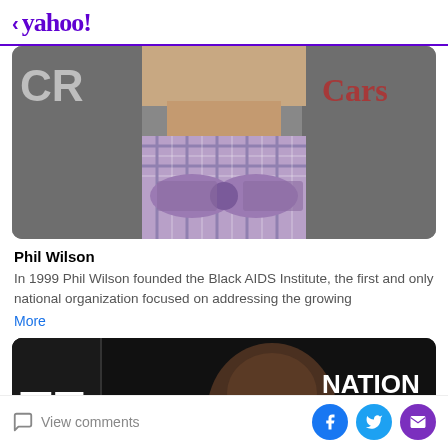< yahoo!
[Figure (photo): Cropped photo of Phil Wilson wearing a purple bow tie and checkered shirt with a grey suit jacket, with 'CK' and 'Cars' text visible in background]
Phil Wilson
In 1999 Phil Wilson founded the Black AIDS Institute, the first and only national organization focused on addressing the growing
More
[Figure (photo): Cropped photo of a man in front of a dark background with 'NATIONAL' and partial text visible, with 'TE' letters on left panel]
View comments | Facebook share | Twitter share | Email share